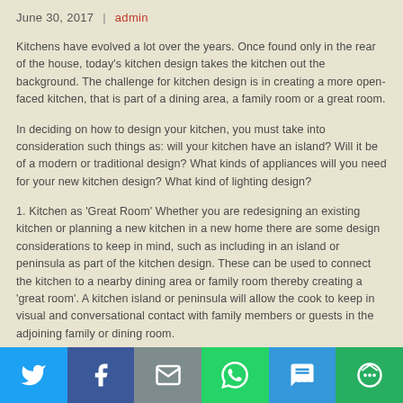June 30, 2017  |  admin
Kitchens have evolved a lot over the years. Once found only in the rear of the house, today's kitchen design takes the kitchen out the background. The challenge for kitchen design is in creating a more open-faced kitchen, that is part of a dining area, a family room or a great room.
In deciding on how to design your kitchen, you must take into consideration such things as: will your kitchen have an island? Will it be of a modern or traditional design? What kinds of appliances will you need for your new kitchen design? What kind of lighting design?
1. Kitchen as 'Great Room' Whether you are redesigning an existing kitchen or planning a new kitchen in a new home there are some design considerations to keep in mind, such as including in an island or peninsula as part of the kitchen design. These can be used to connect the kitchen to a nearby dining area or family room thereby creating a 'great room'. A kitchen island or peninsula will allow the cook to keep in visual and conversational contact with family members or guests in the adjoining family or dining room.
[Figure (infographic): Social share bar with Twitter, Facebook, Email, WhatsApp, SMS, and More buttons]